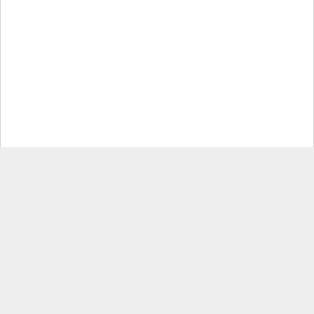Our Newest Profiles
Search...
Utah HVAC
HVAC contractor